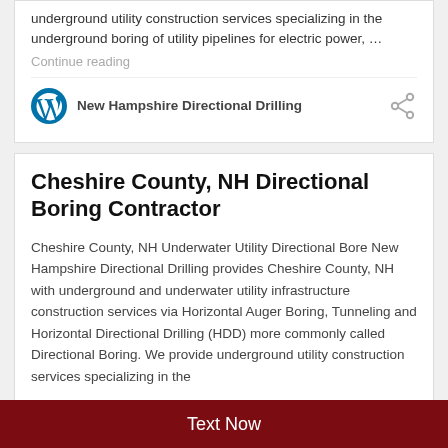underground utility construction services specializing in the underground boring of utility pipelines for electric power, …
Continue reading
New Hampshire Directional Drilling
Cheshire County, NH Directional Boring Contractor
Cheshire County, NH Underwater Utility Directional Bore New Hampshire Directional Drilling provides Cheshire County, NH with underground and underwater utility infrastructure construction services via Horizontal Auger Boring, Tunneling and Horizontal Directional Drilling (HDD) more commonly called Directional Boring. We provide underground utility construction services specializing in the
Text Now